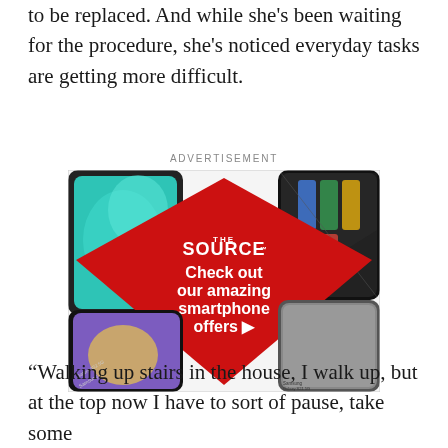to be replaced. And while she's been waiting for the procedure, she's noticed everyday tasks are getting more difficult.
ADVERTISEMENT
[Figure (illustration): The Source advertisement banner with red diamond background, smartphones around edges, text reading 'THE SOURCE - Check out our amazing smartphone offers']
“Walking up stairs in the house, I walk up, but at the top now I have to sort of pause, take some